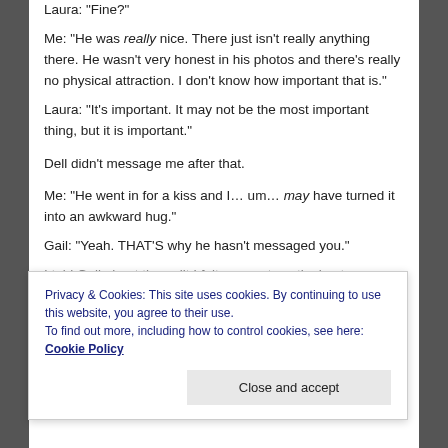Laura: "Fine?"
Me: "He was really nice. There just isn't really anything there. He wasn't very honest in his photos and there's really no physical attraction. I don't know how important that is."
Laura: "It's important. It may not be the most important thing, but it is important."
Dell didn't message me after that.
Me: "He went in for a kiss and I… um… may have turned it into an awkward hug."
Gail: "Yeah. THAT'S why he hasn't messaged you."
I told Gail about the guilt I felt over not continuing to see
Privacy & Cookies: This site uses cookies. By continuing to use this website, you agree to their use.
To find out more, including how to control cookies, see here: Cookie Policy
Close and accept